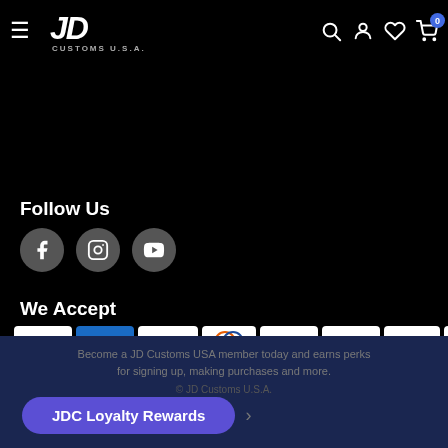JD Customs U.S.A. navigation header with hamburger menu, logo, search, account, wishlist, cart (0)
Follow Us
[Figure (illustration): Three social media icons in grey circles: Facebook, Instagram, YouTube]
We Accept
[Figure (illustration): Payment method logos: Amazon, Amex, Apple Pay, Diners Club, Discover, Meta Pay, Google Pay, Mastercard, PayPal, (X), OPay, Venmo, Visa]
Become a JD Customs USA member today and earns perks for signing up, making purchases and more.
© JD Customs U.S.A.
JDC Loyalty Rewards